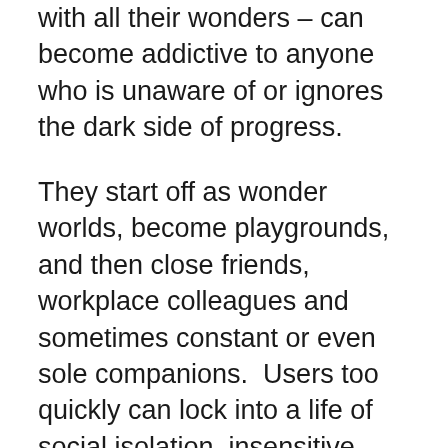with all their wonders – can become addictive to anyone who is unaware of or ignores the dark side of progress.
They start off as wonder worlds, become playgrounds, and then close friends, workplace colleagues and sometimes constant or even sole companions.  Users too quickly can lock into a life of social isolation, insensitive choices and self-centeredness. Still, technology is evolution in action, surging our world into the future at a far greater rate than even Darwin could have imagined.
These days, computer technology and social media seem to be using each other for their